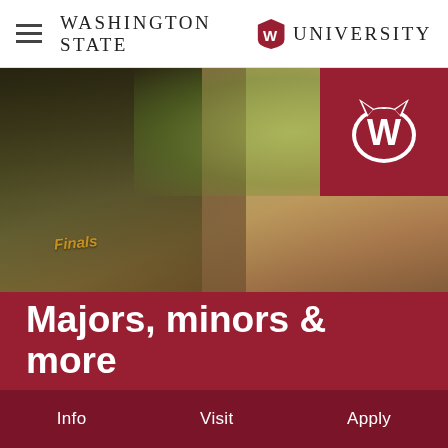Washington State University
[Figure (photo): Two female students studying outdoors, one in a black Finals shirt, the other in a grey shirt looking down at work. WSU logo badge in upper right corner of photo.]
Majors, minors & more
Info   Visit   Apply